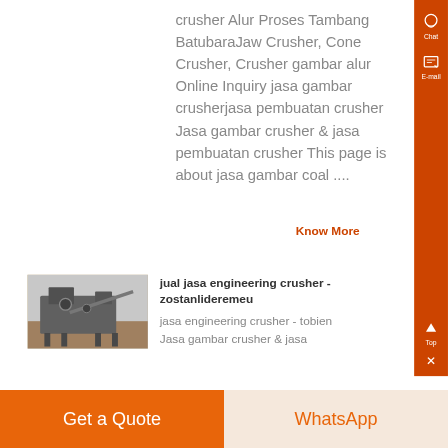crusher Alur Proses Tambang BatubaraJaw Crusher, Cone Crusher, Crusher gambar alur Online Inquiry jasa gambar crusherjasa pembuatan crusher Jasa gambar crusher & jasa pembuatan crusher This page is about jasa gambar coal ....
Know More
[Figure (photo): Industrial crusher machinery at a mining site]
jual jasa engineering crusher - zostanlideremeu
jasa engineering crusher - tobien Jasa gambar crusher & jasa
Get a Quote
WhatsApp